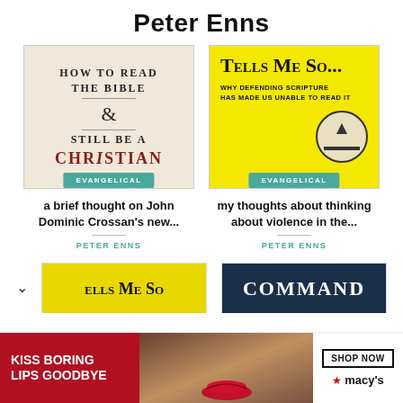Peter Enns
[Figure (photo): Book cover: How to Read the Bible & Still Be a Christian, with beige/cream background and red Christian text]
[Figure (photo): Book cover: Tells Me So... Why Defending Scripture Has Made Us Unable to Read It, yellow background]
a brief thought on John Dominic Crossan's new...
PETER ENNS
my thoughts about thinking about violence in the...
PETER ENNS
[Figure (photo): Partial book cover: Tells Me So - yellow, partially visible at bottom]
[Figure (photo): Partial book cover: COMMAND - dark blue, partially visible at bottom]
[Figure (photo): Advertisement banner: KISS BORING LIPS GOODBYE - macy's SHOP NOW]